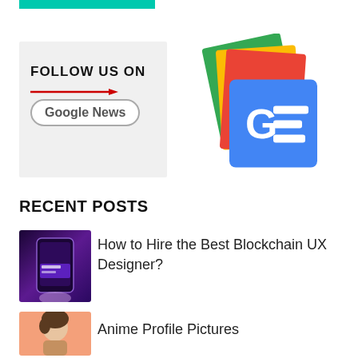[Figure (other): Teal/green horizontal bar at top]
[Figure (logo): Follow us on Google News banner with Google News logo - stacked colorful cards with G= icon]
RECENT POSTS
[Figure (photo): Thumbnail image of a hand holding a phone with purple UI app screen]
How to Hire the Best Blockchain UX Designer?
[Figure (illustration): Thumbnail image of an anime character illustration on pink/salmon background]
Anime Profile Pictures